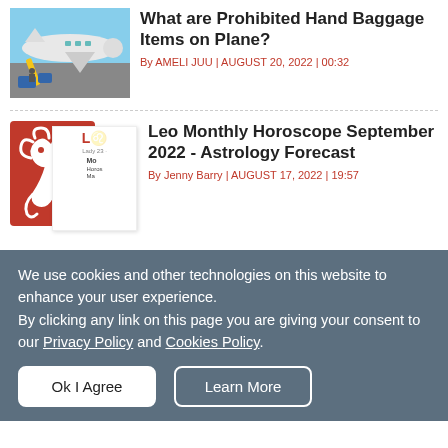[Figure (photo): Airplane on tarmac with luggage being loaded]
What are Prohibited Hand Baggage Items on Plane?
By AMELI JUU | AUGUST 20, 2022 | 00:32
[Figure (illustration): Leo horoscope thumbnail composite: red Leo zodiac icon on left, small magazine-style card overlapping on right with text: L, Lady 23, Monthly Horoscope Ma]
Leo Monthly Horoscope September 2022 - Astrology Forecast
By Jenny Barry | AUGUST 17, 2022 | 19:57
We use cookies and other technologies on this website to enhance your user experience.
By clicking any link on this page you are giving your consent to our Privacy Policy and Cookies Policy.
Ok I Agree
Learn More